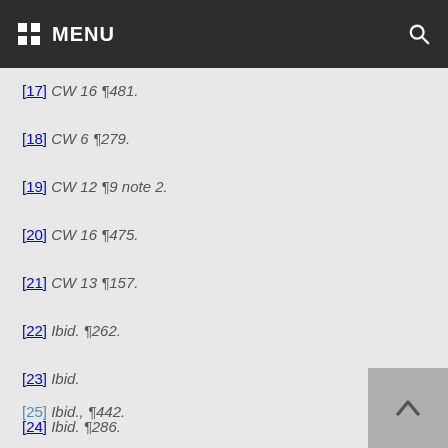MENU
[17] CW 16 ¶481.
[18] CW 6 ¶279.
[19] CW 12 ¶9 note 2.
[20] CW 16 ¶475.
[21] CW 13 ¶157.
[22] Ibid. ¶262.
[23] Ibid.
[24] Ibid. ¶286.
[25] Ibid., ¶442.
[26] CW 14 ¶321.
[27] Ibid. ¶748.
[28] CW 8 ¶343.